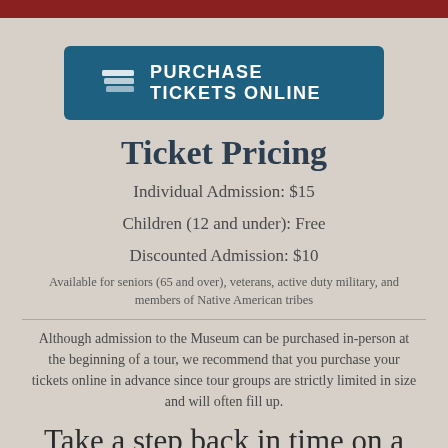[Figure (other): Purchase Tickets Online button with ticket icon]
Ticket Pricing
Individual Admission: $15
Children (12 and under): Free
Discounted Admission: $10
Available for seniors (65 and over), veterans, active duty military, and members of Native American tribes
Although admission to the Museum can be purchased in-person at the beginning of a tour, we recommend that you purchase your tickets online in advance since tour groups are strictly limited in size and will often fill up.
Take a step back in time on a guided tour of the historic Stanley home in Estes Park, Colorado